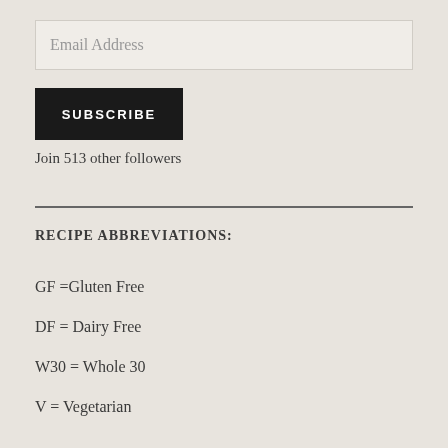Email Address
SUBSCRIBE
Join 513 other followers
RECIPE ABBREVIATIONS:
GF =Gluten Free
DF = Dairy Free
W30 = Whole 30
V = Vegetarian